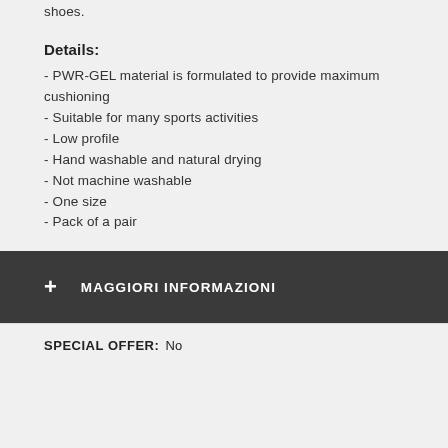shoes.
Details:
- PWR-GEL material is formulated to provide maximum cushioning
- Suitable for many sports activities
- Low profile
- Hand washable and natural drying
- Not machine washable
- One size
- Pack of a pair
+ MAGGIORI INFORMAZIONI
SPECIAL OFFER: No